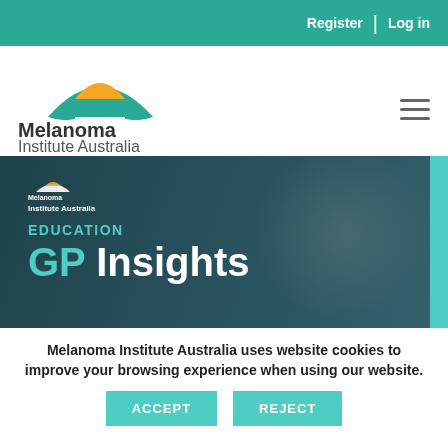Register | Log in
[Figure (logo): Melanoma Institute Australia logo with teal umbrella and gold sun arc, with organization name text]
[Figure (screenshot): Melanoma Institute Australia Education GP Insights banner with dark teal background and teal accent bar on right]
Melanoma Institute Australia uses website cookies to improve your browsing experience when using our website.
ACCEPT   REJECT